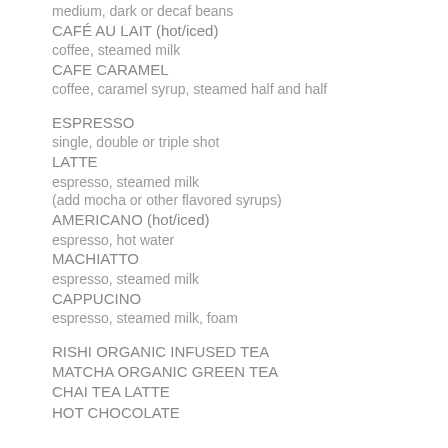medium, dark or decaf beans
CAFÉ AU LAIT (hot/iced)
coffee, steamed milk
CAFE CARAMEL
coffee, caramel syrup, steamed half and half
ESPRESSO
single, double or triple shot
LATTE
espresso, steamed milk
(add mocha or other flavored syrups)
AMERICANO (hot/iced)
espresso, hot water
MACHIATTO
espresso, steamed milk
CAPPUCINO
espresso, steamed milk, foam
RISHI ORGANIC INFUSED TEA
MATCHA ORGANIC GREEN TEA
CHAI TEA LATTE
HOT CHOCOLATE